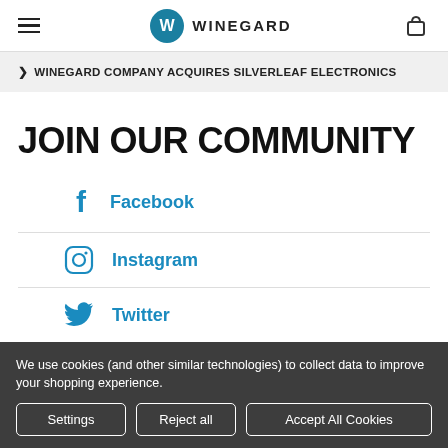WINEGARD
> WINEGARD COMPANY ACQUIRES SILVERLEAF ELECTRONICS
JOIN OUR COMMUNITY
Facebook
Instagram
Twitter
We use cookies (and other similar technologies) to collect data to improve your shopping experience.
Settings | Reject all | Accept All Cookies